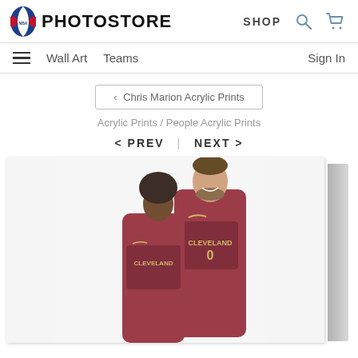NBA PHOTOSTORE | SHOP
Wall Art   Teams   Sign In
< Chris Marion Acrylic Prints
Acrylic Prints / People Acrylic Prints
< PREV  |  NEXT >
[Figure (photo): Two Cleveland Cavaliers basketball players in red uniforms posing together, displayed as an acrylic print wall art product. The shorter player on the left and the taller player (wearing #0) on the right have his arm around the shorter player.]